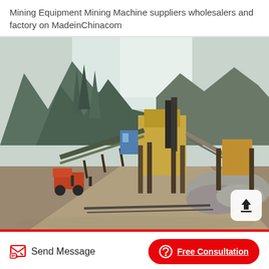Mining Equipment Mining Machine suppliers wholesalers and factory on MadeinChinacom
[Figure (photo): Outdoor mining site with conveyor belts, crushers, and heavy machinery set against a mountainous backdrop. Workers and trucks visible in the foreground on a dirt road.]
Send Message
Free Consultation